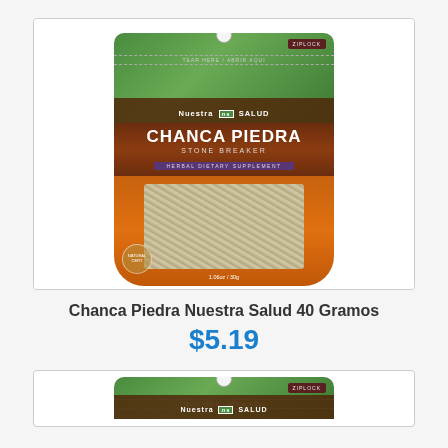[Figure (photo): Product photo of Chanca Piedra Nuestra Salud Stone Breaker herbal dietary supplement bag (40g/30g) with green top, brown middle section with product name, orange bottom showing dried herbs, ziplock closure]
Chanca Piedra Nuestra Salud 40 Gramos
$5.19
[Figure (photo): Partial product photo of a second Chanca Piedra Nuestra Salud bag, showing only the top green/brown portion with ziplock label visible]